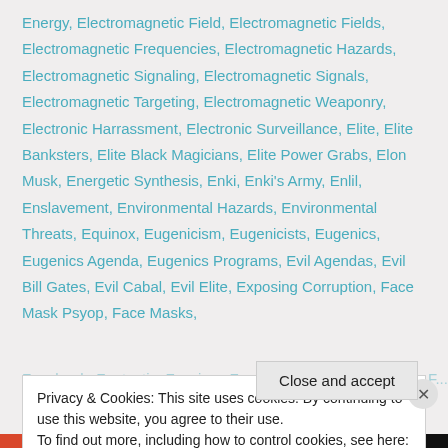Energy, Electromagnetic Field, Electromagnetic Fields, Electromagnetic Frequencies, Electromagnetic Hazards, Electromagnetic Signaling, Electromagnetic Signals, Electromagnetic Targeting, Electromagnetic Weaponry, Electronic Harrassment, Electronic Surveillance, Elite, Elite Banksters, Elite Black Magicians, Elite Power Grabs, Elon Musk, Energetic Synthesis, Enki, Enki's Army, Enlil, Enslavement, Environmental Hazards, Environmental Threats, Equinox, Eugenicism, Eugenicists, Eugenics, Eugenics Agenda, Eugenics Programs, Evil Agendas, Evil Bill Gates, Evil Cabal, Evil Elite, Exposing Corruption, Face Mask Psyop, Face Masks,
Privacy & Cookies: This site uses cookies. By continuing to use this website, you agree to their use.
To find out more, including how to control cookies, see here: Cookie Policy